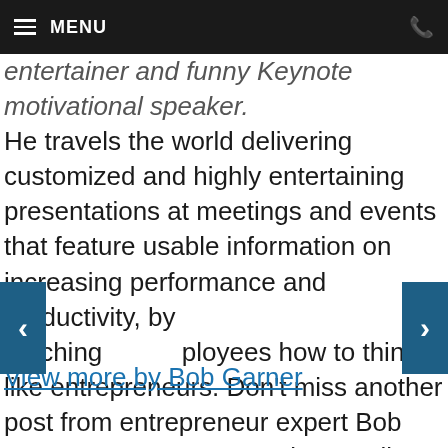MENU
entertainer and funny Keynote motivational speaker. He travels the world delivering customized and highly entertaining presentations at meetings and events that feature usable information on increasing performance and productivity, by teaching employees how to think like entrepreneurs. Don't miss another post from entrepreneur expert Bob Garner. Once You See Him, You'll Never Forget Him!
View more by Bob Garner